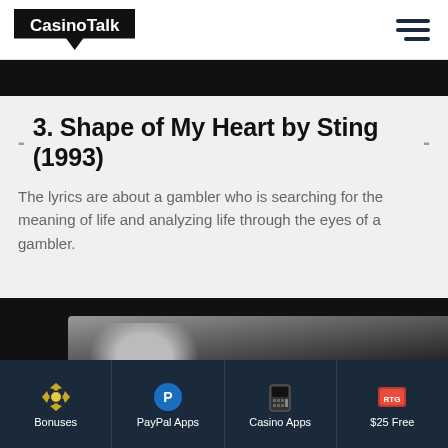CasinoTalk
[Figure (screenshot): Dark/black image strip at top of content area]
3. Shape of My Heart by Sting (1993)
The lyrics are about a gambler who is searching for the meaning of life and analyzing life through the eyes of a gambler.
[Figure (photo): Black and white photo of a person, likely musician, partially visible]
Bonuses | PayPal Apps | Casino Apps | $25 Free